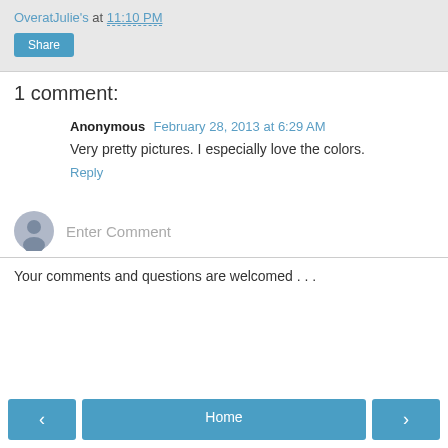OveratJulie's at 11:10 PM
Share
1 comment:
Anonymous  February 28, 2013 at 6:29 AM
Very pretty pictures. I especially love the colors.
Reply
Enter Comment
Your comments and questions are welcomed . . .
‹
Home
›